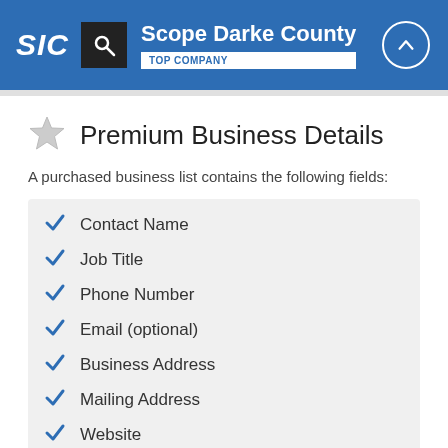SIC | Scope Darke County | TOP COMPANY
Premium Business Details
A purchased business list contains the following fields:
Contact Name
Job Title
Phone Number
Email (optional)
Business Address
Mailing Address
Website
Latitude / Longitude
Modeled Credit Rating